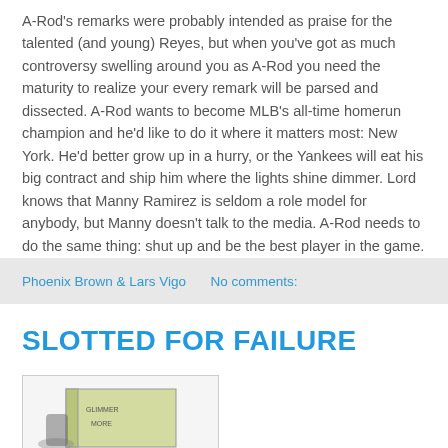A-Rod's remarks were probably intended as praise for the talented (and young) Reyes, but when you've got as much controversy swelling around you as A-Rod you need the maturity to realize your every remark will be parsed and dissected. A-Rod wants to become MLB's all-time homerun champion and he'd like to do it where it matters most: New York. He'd better grow up in a hurry, or the Yankees will eat his big contract and ship him where the lights shine dimmer. Lord knows that Manny Ramirez is seldom a role model for anybody, but Manny doesn't talk to the media. A-Rod needs to do the same thing: shut up and be the best player in the game. --LV
Phoenix Brown & Lars Vigo    No comments:
SLOTTED FOR FAILURE
[Figure (illustration): Partial illustration of what appears to be a book or box with text 'GLIMMER' and 'MORE' visible on the spine/side]